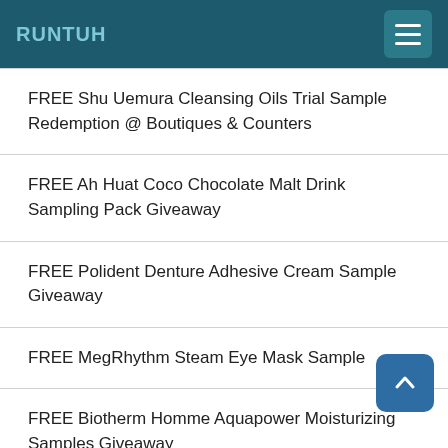RUNTUH
FREE Shu Uemura Cleansing Oils Trial Sample Redemption @ Boutiques & Counters
FREE Ah Huat Coco Chocolate Malt Drink Sampling Pack Giveaway
FREE Polident Denture Adhesive Cream Sample Giveaway
FREE MegRhythm Steam Eye Mask Sample
FREE Biotherm Homme Aquapower Moisturizing Samples Giveaway